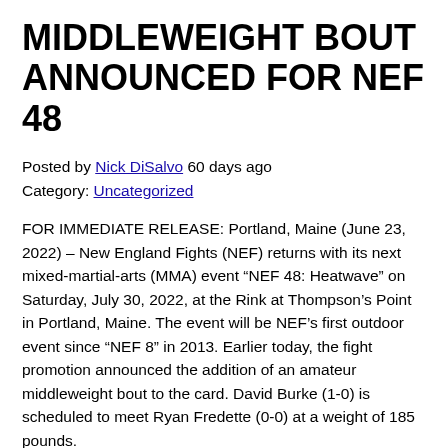MIDDLEWEIGHT BOUT ANNOUNCED FOR NEF 48
Posted by Nick DiSalvo 60 days ago
Category: Uncategorized
FOR IMMEDIATE RELEASE: Portland, Maine (June 23, 2022) – New England Fights (NEF) returns with its next mixed-martial-arts (MMA) event “NEF 48: Heatwave” on Saturday, July 30, 2022, at the Rink at Thompson’s Point in Portland, Maine. The event will be NEF’s first outdoor event since “NEF 8” in 2013. Earlier today, the fight promotion announced the addition of an amateur middleweight bout to the card. David Burke (1-0) is scheduled to meet Ryan Fredette (0-0) at a weight of 185 pounds.
David Burke made an impressive debut at “NEF 47” last month in Auburn, Maine with a first round technical knockout of David McCarty (1-2). It took Burke a mere 19 seconds to put McCarty away. He currently trains at Nostos MMA in Somersworth, New Hampshire under the guidance of UFC and Bellator veteran, and former NEF Professional Lightweight Champion, Devin Powell (10-5).